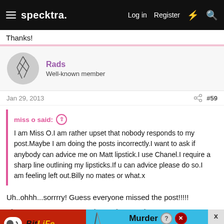specktra. | Log in | Register
Thanks!
Rads
Well-known member
Jan 29, 2013  #59
miss o said: ↑
I am Miss O.I am rather upset that nobody responds to my post.Maybe I am doing the posts incorrectly.I want to ask if anybody can advice me on Matt lipstick.I use Chanel.I require a sharp line outlining my lipsticks.If u can advice please do so.I am feeling left out.Billy no mates or what.x
Uh..ohhh...sorrrry! Guess everyone missed the post!!!!!
They are... [advertisement overlay] ...Velvet lipsticks... don't dry out my li... earlier.
[Figure (screenshot): Advertisement overlay: BitLife and Murder Do it! ads covering the bottom of the post]